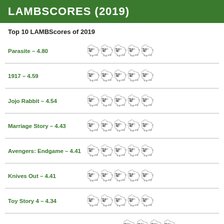LAMBSCORES (2019)
Top 10 LAMBScores of 2019
Parasite – 4.80
1917 – 4.59
Jojo Rabbit – 4.54
Marriage Story – 4.43
Avengers: Endgame – 4.41
Knives Out – 4.41
Toy Story 4 – 4.34
John Wick: Chapter 3 – Parabellum – 4.24